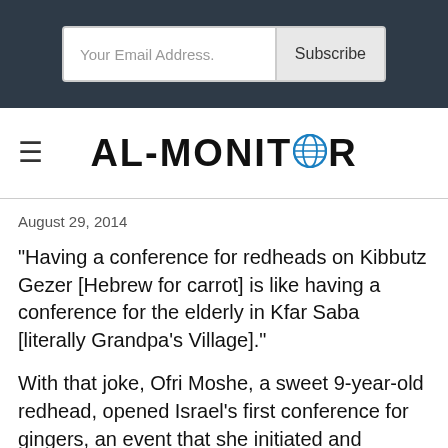[Figure (screenshot): Dark header bar with email subscription form containing 'Your Email Address.' input field and 'Subscribe' button]
AL-MONITOR (with globe icon replacing the O)
August 29, 2014
"Having a conference for redheads on Kibbutz Gezer [Hebrew for carrot] is like having a conference for the elderly in Kfar Saba [literally Grandpa's Village]."
With that joke, Ofri Moshe, a sweet 9-year-old redhead, opened Israel's first conference for gingers, an event that she initiated and organized. Some 200 redheads from across the country registered in advance — a requirement